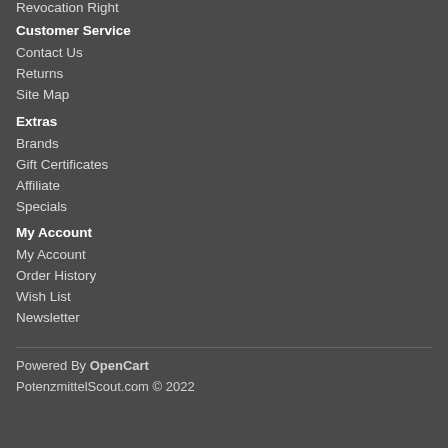Revocation Right
Customer Service
Contact Us
Returns
Site Map
Extras
Brands
Gift Certificates
Affiliate
Specials
My Account
My Account
Order History
Wish List
Newsletter
Powered By OpenCart
PotenzmittelScout.com © 2022